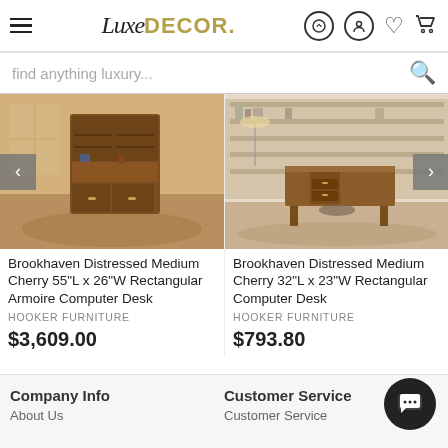LuxeDECOR header with hamburger menu, logo, phone, account, wishlist, cart icons
find anything luxury...
[Figure (photo): Brookhaven Distressed Medium Cherry armoire computer desk product image showing a wooden armoire-style desk with bookcase]
[Figure (photo): Brookhaven Distressed Medium Cherry rectangular computer desk product image showing a wooden desk in a library/office setting]
Brookhaven Distressed Medium Cherry 55"L x 26"W Rectangular Armoire Computer Desk
HOOKER FURNITURE
$3,609.00
Brookhaven Distressed Medium Cherry 32"L x 23"W Rectangular Computer Desk
HOOKER FURNITURE
$793.80
Company Info | About Us | Customer Service | Customer Service